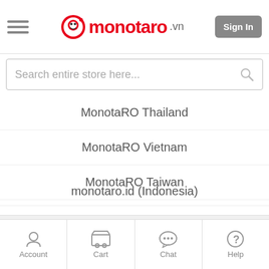[Figure (logo): MonotaRO.vn logo with hamburger menu and Sign In button in header]
Search entire store here...
MonotaRO Thailand
MonotaRO Vietnam
MonotaRO Taiwan
monotaro.id (Indonesia)
NAVIMRO (Korea)
Follow Us
[Figure (infographic): Partial social media icons (Facebook blue, red icon) partially visible]
Account  Cart  Chat  Help